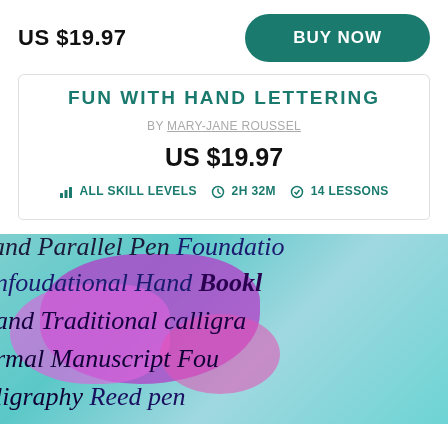US $19.97
BUY NOW
FUN WITH HAND LETTERING
BY MARY-JANE ROUSSEL
US $19.97
ALL SKILL LEVELS  ⏱ 2H 32M  ✓ 14 LESSONS
[Figure (photo): Calligraphy lettering photo showing colorful purple/teal background with italic handwritten text including words like 'and Parallel Pen', 'Foundational', 'nfoudational Hand', 'Bookl', 'and Traditional calligra', 'rmal Manuscript Fou', 'ligraphy', 'Reed pen']